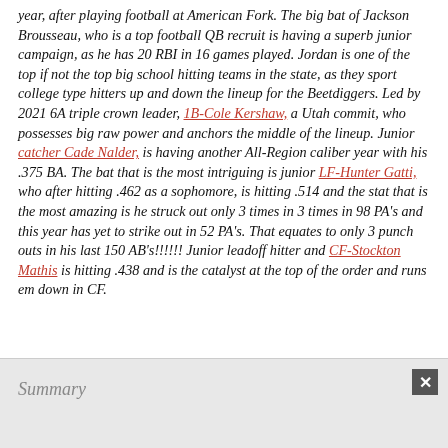year, after playing football at American Fork. The big bat of Jackson Brousseau, who is a top football QB recruit is having a superb junior campaign, as he has 20 RBI in 16 games played. Jordan is one of the top if not the top big school hitting teams in the state, as they sport college type hitters up and down the lineup for the Beetdiggers. Led by 2021 6A triple crown leader, 1B-Cole Kershaw, a Utah commit, who possesses big raw power and anchors the middle of the lineup. Junior catcher Cade Nalder, is having another All-Region caliber year with his .375 BA. The bat that is the most intriguing is junior LF-Hunter Gatti, who after hitting .462 as a sophomore, is hitting .514 and the stat that is the most amazing is he struck out only 3 times in 3 times in 98 PA's and this year has yet to strike out in 52 PA's. That equates to only 3 punch outs in his last 150 AB's!!!!!! Junior leadoff hitter and CF-Stockton Mathis is hitting .438 and is the catalyst at the top of the order and runs em down in CF.
Summary